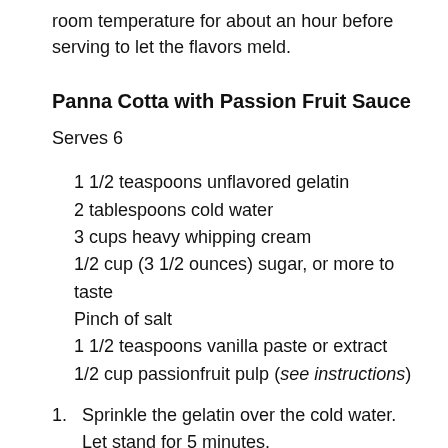room temperature for about an hour before serving to let the flavors meld.
Panna Cotta with Passion Fruit Sauce
Serves 6
1 1/2 teaspoons unflavored gelatin
2 tablespoons cold water
3 cups heavy whipping cream
1/2 cup (3 1/2 ounces) sugar, or more to taste
Pinch of salt
1 1/2 teaspoons vanilla paste or extract
1/2 cup passionfruit pulp (see instructions)
1. Sprinkle the gelatin over the cold water. Let stand for 5 minutes.
2. In a 3-quart saucepan, warm the cream with the sugar, salt, and vanilla over medium-high heat. Do not let it boil